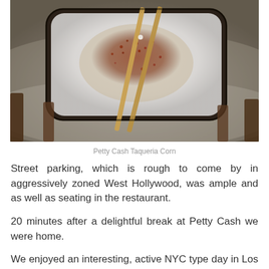[Figure (photo): Overhead close-up photo of a plate of corn with chili powder and chopsticks resting on it, on a metallic surface]
Petty Cash Taqueria Corn
Street parking, which is rough to come by in aggressively zoned West Hollywood, was ample and as well as seating in the restaurant.
20 minutes after a delightful break at Petty Cash we were home.
We enjoyed an interesting, active NYC type day in Los Angeles.
Traffic and driving is a common thread in this post...unless